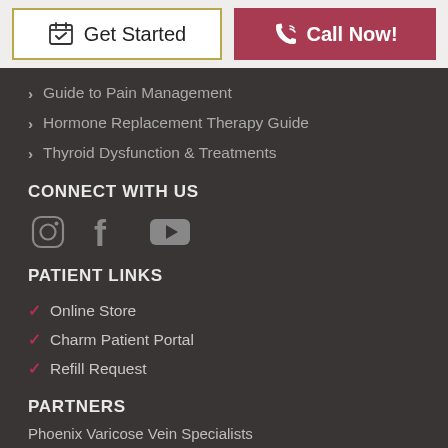[Figure (screenshot): Header with Get Started button (white with gold border, calendar icon) and Call Now! button (dark red with phone icon)]
Guide to Pain Management
Hormone Replacement Therapy Guide
Thyroid Dysfunction & Treatments
CONNECT WITH US
[Figure (illustration): Social media icons: Instagram, Facebook, YouTube]
PATIENT LINKS
Online Store
Charm Patient Portal
Refill Request
PARTNERS
Phoenix Varicose Vein Specialists